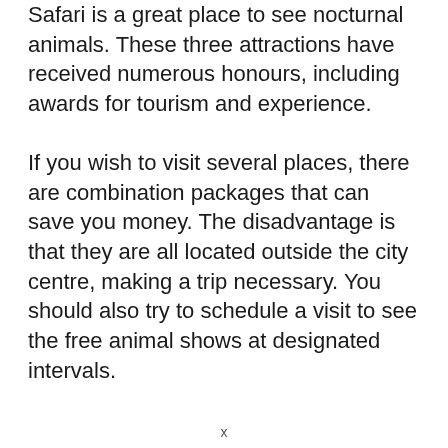Safari is a great place to see nocturnal animals. These three attractions have received numerous honours, including awards for tourism and experience.
If you wish to visit several places, there are combination packages that can save you money. The disadvantage is that they are all located outside the city centre, making a trip necessary. You should also try to schedule a visit to see the free animal shows at designated intervals.
x